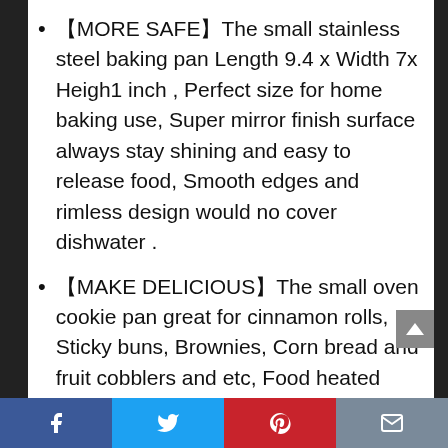【MORE SAFE】The small stainless steel baking pan Length 9.4 x Width 7x Heigh1 inch , Perfect size for home baking use, Super mirror finish surface always stay shining and easy to release food, Smooth edges and rimless design would no cover dishwater .
【MAKE DELICIOUS】The small oven cookie pan great for cinnamon rolls, Sticky buns, Brownies, Corn bread and fruit cobblers and etc, Food heated evenly and come out perfectly.
[Figure (screenshot): Social media share bar with Facebook, Twitter, Pinterest, and email icons at the bottom of the page]